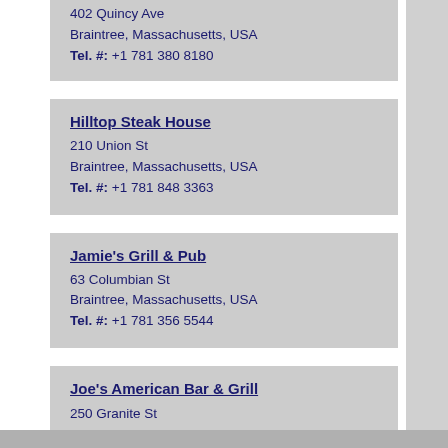402 Quincy Ave
Braintree, Massachusetts, USA
Tel. #: +1 781 380 8180
Hilltop Steak House
210 Union St
Braintree, Massachusetts, USA
Tel. #: +1 781 848 3363
Jamie's Grill & Pub
63 Columbian St
Braintree, Massachusetts, USA
Tel. #: +1 781 356 5544
Joe's American Bar & Grill
250 Granite St
Braintree, Massachusetts, USA
Tel. #: +1 781 848 0200